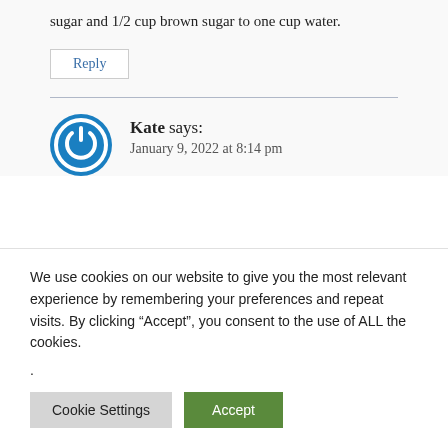sugar and 1/2 cup brown sugar to one cup water.
Reply
Kate says:
January 9, 2022 at 8:14 pm
We use cookies on our website to give you the most relevant experience by remembering your preferences and repeat visits. By clicking “Accept”, you consent to the use of ALL the cookies.
.
Cookie Settings
Accept